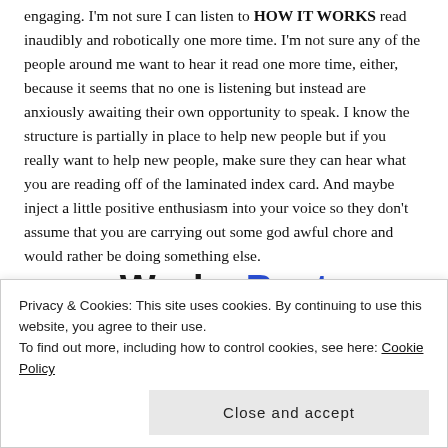engaging. I'm not sure I can listen to HOW IT WORKS read inaudibly and robotically one more time. I'm not sure any of the people around me want to hear it read one more time, either, because it seems that no one is listening but instead are anxiously awaiting their own opportunity to speak. I know the structure is partially in place to help new people but if you really want to help new people, make sure they can hear what you are reading off of the laminated index card. And maybe inject a little positive enthusiasm into your voice so they don't assume that you are carrying out some god awful chore and would rather be doing something else.
Works Best
SEE PRICING
Privacy & Cookies: This site uses cookies. By continuing to use this website, you agree to their use.
To find out more, including how to control cookies, see here: Cookie Policy
Close and accept